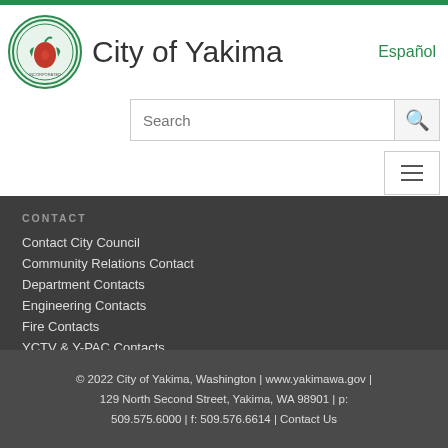City of Yakima
CONTACT
Contact City Council
Community Relations Contact
Department Contacts
Engineering Contacts
Fire Contacts
YCTV & Y-PAC Contacts
Employee Portal
© 2022 City of Yakima, Washington | www.yakimawa.gov | 129 North Second Street, Yakima, WA 98901 | p: 509.575.6000 | f: 509.576.6614 | Contact Us